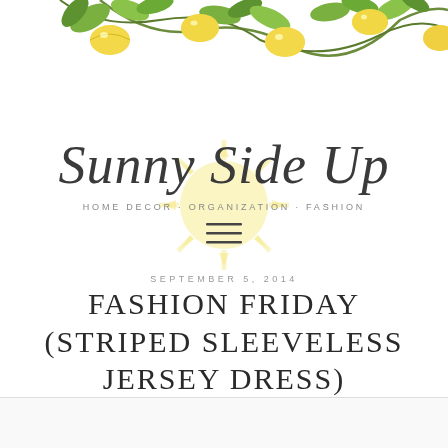[Figure (illustration): Decorative lemon branch with yellow lemons and green leaves across the top of the page]
[Figure (logo): Sunny Side Up blog logo with a yellow sun watermark behind cursive script text reading 'Sunny Side Up' and tagline 'HOME DECOR · ORGANIZATION · FASHION']
[Figure (other): Hamburger menu icon consisting of three horizontal lines]
SEPTEMBER 5, 2014
FASHION FRIDAY (STRIPED SLEEVELESS JERSEY DRESS)